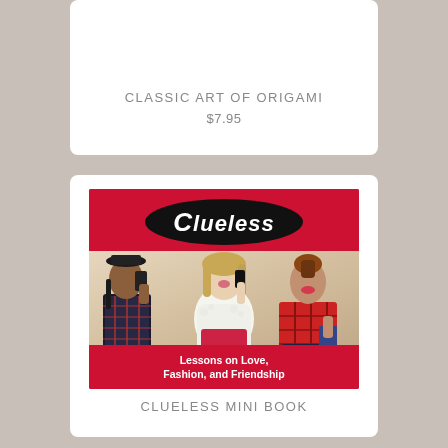CLASSIC ART OF ORIGAMI
$7.95
[Figure (photo): Book cover of 'Clueless Mini Book: Lessons on Love, Fashion, and Friendship' featuring three teenage girls from the movie Clueless against a red background with the Clueless logo in a black oval at the top.]
CLUELESS MINI BOOK